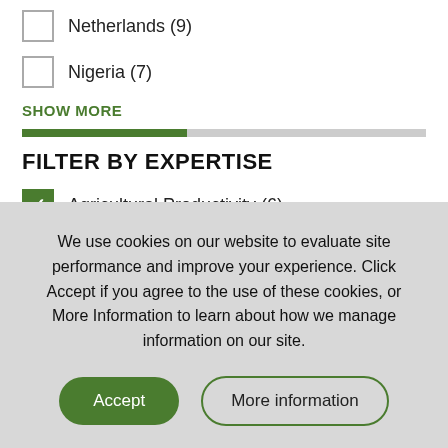Netherlands (9)
Nigeria (7)
SHOW MORE
FILTER BY EXPERTISE
Agricultural Productivity (6)
Gender (4)
We use cookies on our website to evaluate site performance and improve your experience. Click Accept if you agree to the use of these cookies, or More Information to learn about how we manage information on our site.